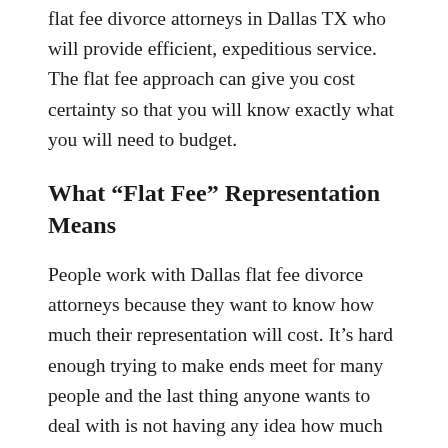flat fee divorce attorneys in Dallas TX who will provide efficient, expeditious service. The flat fee approach can give you cost certainty so that you will know exactly what you will need to budget.
What “Flat Fee” Representation Means
People work with Dallas flat fee divorce attorneys because they want to know how much their representation will cost. It’s hard enough trying to make ends meet for many people and the last thing anyone wants to deal with is not having any idea how much their divorce lawyer will cost. Flat fee divorce attorneys in Dallas TX eliminate that